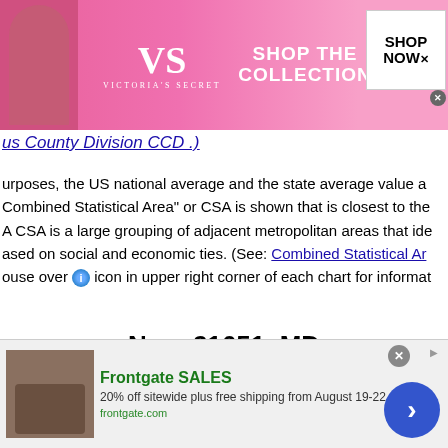[Figure (photo): Victoria's Secret advertisement banner with model, VS logo, and 'SHOP THE COLLECTION / SHOP NOW' button]
us County Division  CCD .)
urposes, the US national average and the state average value a... Combined Statistical Area" or CSA is shown that is closest to the... A CSA is a large grouping of adjacent metropolitan areas that ide... ased on social and economic ties. (See: Combined Statistical Ar... ouse over (i) icon in upper right corner of each chart for informat...
Near 21651, MD
Select a City-Place
Select a Zipcode
[Figure (photo): Frontgate SALES advertisement: outdoor furniture photo, '20% off sitewide plus free shipping from August 19-22', frontgate.com, with blue arrow button]